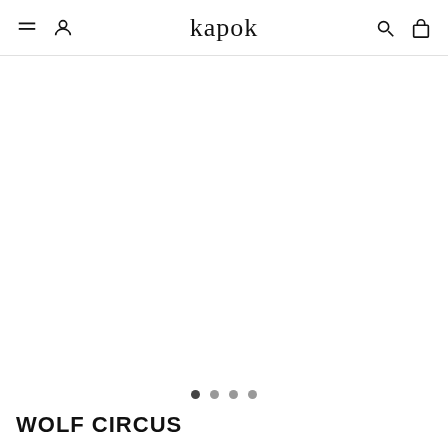kapok
[Figure (photo): Close-up photo of a gold mariner/anchor chain bracelet or necklace, photographed diagonally against a white background. The chain is gold-toned with flat oval links connected by a central bar, displayed at an angle from upper-left to lower-right.]
WOLF CIRCUS